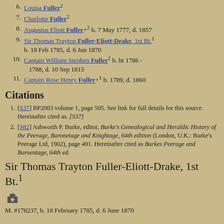6. Louisa Fuller²
7. Charlotte Fuller²
8. Augustus Eliott Fuller+² b. 7 May 1777, d. 1857
9. Sir Thomas Trayton Fuller-Eliott-Drake, 1st Bt.¹ b. 18 Feb 1785, d. 6 Jun 1870
10. Captain William Stephen Fuller² b. bt 1786 - 1788, d. 10 Sep 1815
11. Captain Rose Henry Fuller+¹ b. 1789, d. 1860
Citations
[S37] BP2003 volume 1, page 505. See link for full details for this source. Hereinafter cited as. [S37]
[S82] Ashworth P. Burke, editor, Burke's Genealogical and Heraldic History of the Peerage, Baronetage and Knightage, 64th edition (London, U.K.: Burke's Peerage Ltd, 1902), page 491. Hereinafter cited as Burkes Peerage and Baroentage, 64th ed.
Sir Thomas Trayton Fuller-Eliott-Drake, 1st Bt.¹
M. #178237, b. 18 February 1785, d. 6 June 1870